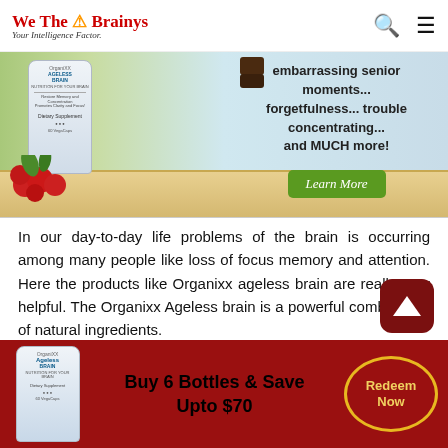We The Brainys — Your Intelligence Factor.
[Figure (advertisement): Organixx Ageless Brain supplement advertisement banner showing product bottle with berries, text about embarrassing senior moments, forgetfulness, trouble concentrating and MUCH more! with a green Learn More button.]
In our day-to-day life problems of the brain is occurring among many people like loss of focus memory and attention. Here the products like Organixx ageless brain are really very helpful. The Organixx Ageless brain is a powerful combination of natural ingredients.
The ingredients work on the brain and treat many
[Figure (infographic): Bottom promotional bar: Organixx Ageless Brain bottle image, text 'Buy 6 Bottles & Save Upto $70', and a circular 'Redeem Now' button with gold border.]